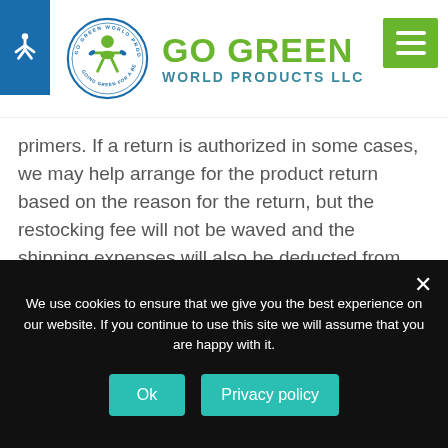[Figure (logo): Go Green World Products LLC logo with circular icon showing a green figure and navigation bar with accessibility button and hamburger menu]
primers. If a return is authorized in some cases, we may help arrange for the product return based on the reason for the return, but the restocking fee will not be waved and the shipping expenses will also be deducted from the refund. All notices must be in writing and are not valid until the customer has received return instructions from the home office. All products must be returned within 30 days from the
We use cookies to ensure that we give you the best experience on our website. If you continue to use this site we will assume that you are happy with it.